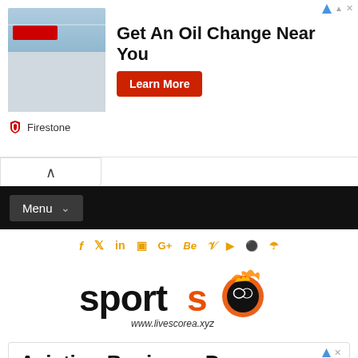[Figure (screenshot): Firestone advertisement banner with building photo, headline 'Get An Oil Change Near You', red Learn More button, and Firestone logo]
[Figure (screenshot): Collapse/up chevron bar]
[Figure (screenshot): Black navigation bar with Menu dropdown button]
[Figure (screenshot): Social media icons bar in yellow/gold: f, twitter, in, instagram, G+, Be, V, youtube, pinterest, soundcloud]
[Figure (logo): Sports logo reading 'sports' with www.livescorea.xyz and flaming soccer ball graphic]
[Figure (screenshot): Aviation Business Program advertisement with text about MBAA and Embry-Riddle Worldwide with Learn More button]